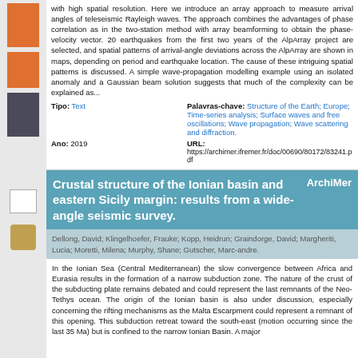with high spatial resolution. Here we introduce an array approach to measure arrival angles of teleseismic Rayleigh waves. The approach combines the advantages of phase correlation as in the two-station method with array beamforming to obtain the phase-velocity vector. 20 earthquakes from the first two years of the AlpArray project are selected, and spatial patterns of arrival-angle deviations across the AlpArray are shown in maps, depending on period and earthquake location. The cause of these intriguing spatial patterns is discussed. A simple wave-propagation modelling example using an isolated anomaly and a Gaussian beam solution suggests that much of the complexity can be explained as...
Tipo: Text
Palavras-chave: Structure of the Earth; Europe; Time-series analysis; Surface waves and free oscillations; Wave propagation; Wave scattering and diffraction.
Ano: 2019
URL: https://archimer.ifremer.fr/doc/00690/80172/83241.pdf
Crustal structure of the Ionian basin and eastern Sicily margin: results from a wide-angle seismic survey.
Dellong, David; Klingelhoefer, Frauke; Kopp, Heidrun; Graindorge, David; Margheriti, Lucia; Moretti, Milena; Murphy, Shane; Gutscher, Marc-andre.
In the Ionian Sea (Central Mediterranean) the slow convergence between Africa and Eurasia results in the formation of a narrow subduction zone. The nature of the crust of the subducting plate remains debated and could represent the last remnants of the Neo-Tethys ocean. The origin of the Ionian basin is also under discussion, especially concerning the rifting mechanisms as the Malta Escarpment could represent a remnant of this opening. This subduction retreat toward the south-east (motion occurring since the last 35 Ma) but is confined to the narrow Ionian Basin. A major